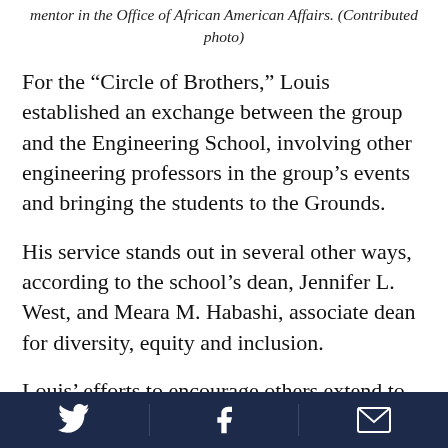mentor in the Office of African American Affairs. (Contributed photo)
For the “Circle of Brothers,” Louis established an exchange between the group and the Engineering School, involving other engineering professors in the group’s events and bringing the students to the Grounds.
His service stands out in several other ways, according to the school’s dean, Jennifer L. West, and Meara M. Habashi, associate dean for diversity, equity and inclusion.
Louis’ efforts to encourage others extend to UVA students not only in the Engineering School, but also
Twitter | Facebook | Email